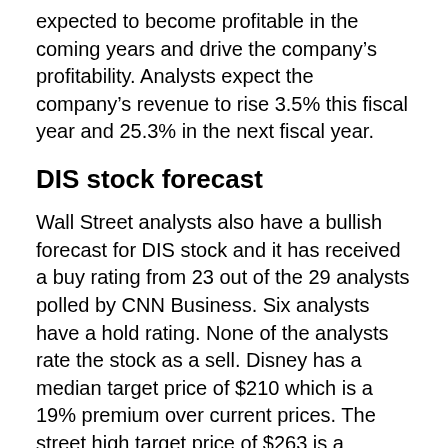expected to become profitable in the coming years and drive the company's profitability. Analysts expect the company's revenue to rise 3.5% this fiscal year and 25.3% in the next fiscal year.
DIS stock forecast
Wall Street analysts also have a bullish forecast for DIS stock and it has received a buy rating from 23 out of the 29 analysts polled by CNN Business. Six analysts have a hold rating. None of the analysts rate the stock as a sell. Disney has a median target price of $210 which is a 19% premium over current prices. The street high target price of $263 is a premium of 49% over current prices.
Barclays downgraded Disney stock